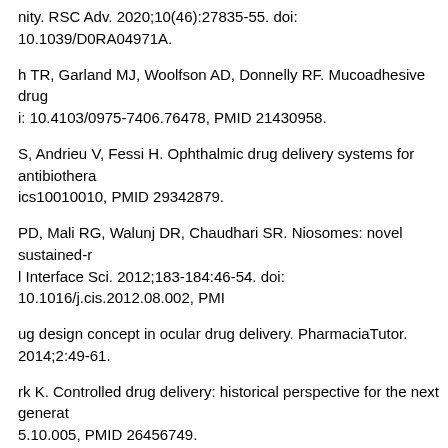nity. RSC Adv. 2020;10(46):27835-55. doi: 10.1039/D0RA04971A.
h TR, Garland MJ, Woolfson AD, Donnelly RF. Mucoadhesive drug delivery. doi: 10.4103/0975-7406.76478, PMID 21430958.
S, Andrieu V, Fessi H. Ophthalmic drug delivery systems for antibiotherapy. ics10010010, PMID 29342879.
PD, Mali RG, Walunj DR, Chaudhari SR. Niosomes: novel sustained-release. Interface Sci. 2012;183-184:46-54. doi: 10.1016/j.cis.2012.08.002, PMID
ug design concept in ocular drug delivery. PharmaciaTutor. 2014;2:49-61.
rk K. Controlled drug delivery: historical perspective for the next generation. 5.10.005, PMID 26456749.
ula HK, Parenky A, Mitra AK. Ocular drug delivery. AAPS J. 2010;12(
Kwon YH. Novel drug delivery systems for glaucoma. Eye (Lond). 2
D, Sarogi GK, Chordiya D, Kalyane D, Tekade R. Chapter 17. Prolipo In: Rakesh T, editor. The future pharmaceutical product development and 508.
M, Duval K, Guo X, Chen Z. Design of nanoparticle-based carriers for tar